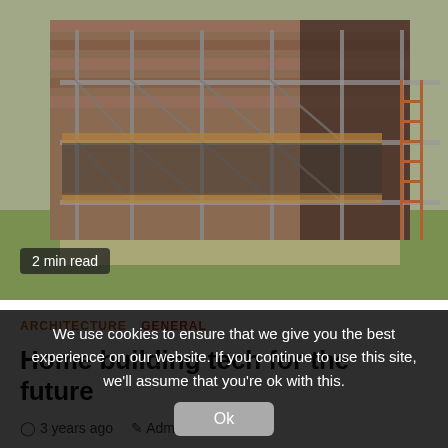[Figure (photo): Construction site photo showing a building under construction with scaffolding made of metal poles and wooden planks, brick walls visible, green grass in foreground, sunny day.]
2 min read
ARCHITECTURE  GENERAL
Home building tech for the future
3 years ago   Admin
Residential construction is not always quick to embrace new technologies. You would be hard pressed to find anyone these days executive
We use cookies to ensure that we give you the best experience on our website. If you continue to use this site, we'll assume that you're ok with this.